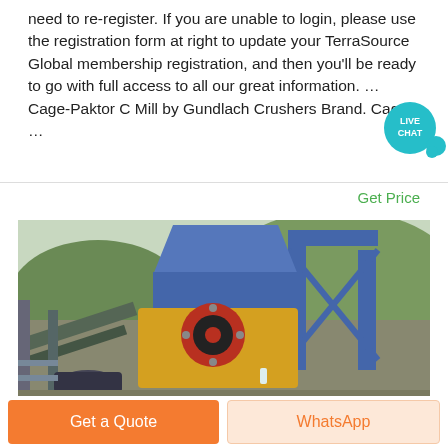need to re-register. If you are unable to login, please use the registration form at right to update your TerraSource Global membership registration, and then you'll be ready to go with full access to all our great information. … Cage-Paktor Cage Mill by Gundlach Crushers Brand. Cage …
Get Price
[Figure (photo): Photograph of industrial mining/crushing machinery including a jaw crusher and conveyor structure with blue metal frame and yellow components, set outdoors against a hillside with trees.]
Get a Quote
WhatsApp